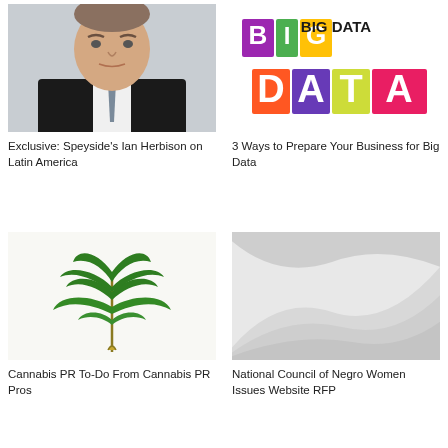[Figure (photo): Professional headshot of a man in a dark suit and tie]
Exclusive: Speyside's Ian Herbison on Latin America
[Figure (logo): Big Data colorful logo with letters B, I, G, D, A, T, A in various colors]
3 Ways to Prepare Your Business for Big Data
[Figure (photo): Cannabis leaf on white background]
Cannabis PR To-Do From Cannabis PR Pros
[Figure (photo): Abstract grey waves/curves on light grey background]
National Council of Negro Women Issues Website RFP